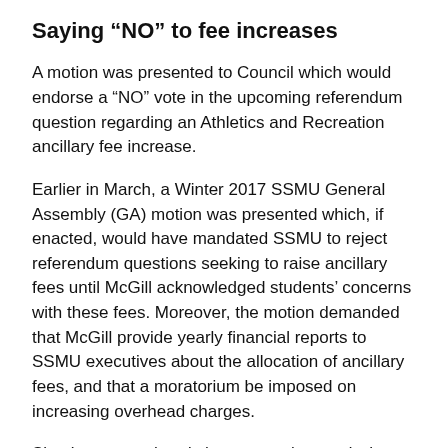Saying "NO" to fee increases
A motion was presented to Council which would endorse a “NO” vote in the upcoming referendum question regarding an Athletics and Recreation ancillary fee increase.
Earlier in March, a Winter 2017 SSMU General Assembly (GA) motion was presented which, if enacted, would have mandated SSMU to reject referendum questions seeking to raise ancillary fees until McGill acknowledged students’ concerns with these fees. Moreover, the motion demanded that McGill provide yearly financial reports to SSMU executives about the allocation of ancillary fees, and that a moratorium be imposed on increasing overhead charges.
Simply put, overhead charges are incurred when the University bills student-fee-funded units for central